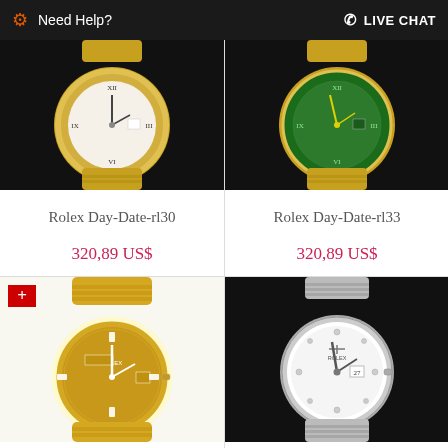Need Help?  LIVE CHAT
[Figure (photo): Rolex Day-Date gold watch with white dial and diamond bezel on dark background]
Rolex Day-Date-rl30
320,89 US$
[Figure (photo): Rolex Day-Date gold watch with green dial and diamond bezel on dark background]
Rolex Day-Date-rl33
320,89 US$
[Figure (photo): Rolex Day-Date fully paved diamond gold watch with Swiss flag badge]
[Figure (photo): Rolex Day-Date silver/white watch with white dial and diamond hour markers on dark background]